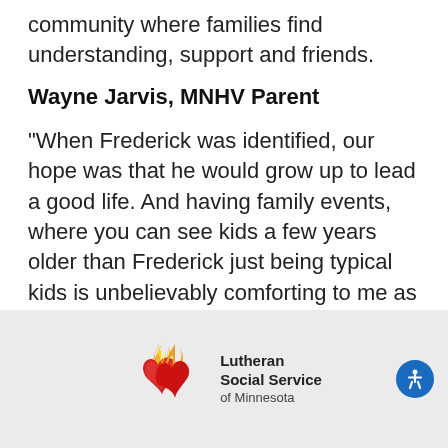community where families find understanding, support and friends.
Wayne Jarvis, MNHV Parent
"When Frederick was identified, our hope was that he would grow up to lead a good life. And having family events, where you can see kids a few years older than Frederick just being typical kids is unbelievably comforting to me as a parent."
[Figure (logo): Lutheran Social Service of Minnesota logo with flame and heart symbol in red and yellow, with a blue accessibility icon button on the right]